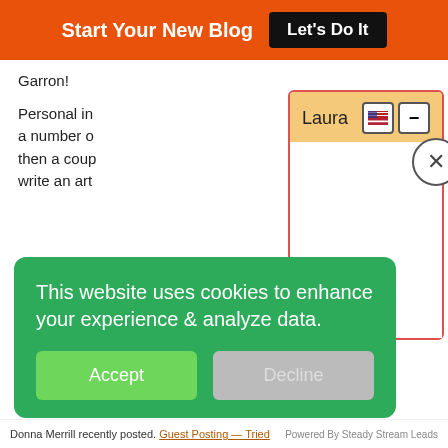Start Your New Blog  Let's Do It
Garron!
Personal in... a number o... then a coup... write an art...
[Figure (photo): Avatar photo of a woman with short brown hair wearing a blue top]
[Figure (screenshot): Chat popup widget with orange/tan header labeled 'Laura', with flag and minus buttons, a circular X close button, and empty white chat body area]
This website uses cookies to enhance your experience & analyze data.
Accept
Decline
Donna Merrill recently posted  Guest Posting — Tried
Powered By Steady Stream Leads